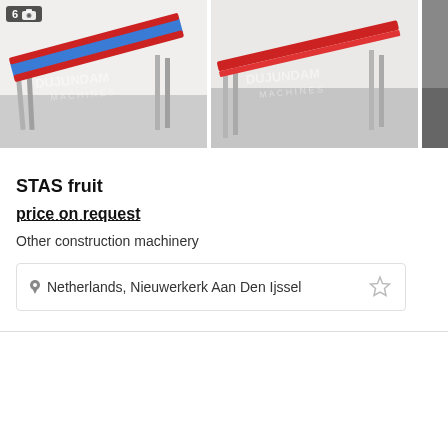[Figure (photo): Two photos of a STAS fruit conveyor belt (red and blue/striped) on metal legs, outdoors. Left photo shows conveyor at an angle; right photo shows a different angle. A sliver of a third photo is visible at the right edge. Left photo has a badge showing '6' and a camera icon.]
STAS fruit
price on request
Other construction machinery
Netherlands, Nieuwerkerk Aan Den Ijssel